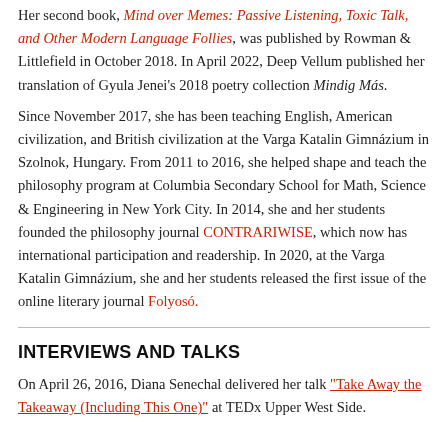Her second book, Mind over Memes: Passive Listening, Toxic Talk, and Other Modern Language Follies, was published by Rowman & Littlefield in October 2018. In April 2022, Deep Vellum published her translation of Gyula Jenei's 2018 poetry collection Mindig Más.
Since November 2017, she has been teaching English, American civilization, and British civilization at the Varga Katalin Gimnázium in Szolnok, Hungary. From 2011 to 2016, she helped shape and teach the philosophy program at Columbia Secondary School for Math, Science & Engineering in New York City. In 2014, she and her students founded the philosophy journal CONTRARIWISE, which now has international participation and readership. In 2020, at the Varga Katalin Gimnázium, she and her students released the first issue of the online literary journal Folyosó.
INTERVIEWS AND TALKS
On April 26, 2016, Diana Senechal delivered her talk "Take Away the Takeaway (Including This One)" at TEDx Upper West Side.